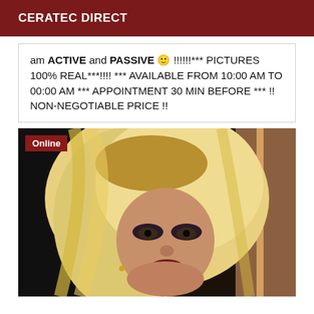CERATEC DIRECT
am ACTIVE and PASSIVE 🙂 !!!!!!*** PICTURES 100% REAL***!!!! *** AVAILABLE FROM 10:00 AM TO 00:00 AM *** APPOINTMENT 30 MIN BEFORE *** !! NON-NEGOTIABLE PRICE !!
[Figure (photo): Close-up photo of a person with long blonde hair and heavy makeup, with an 'Online' badge in the top-left corner]